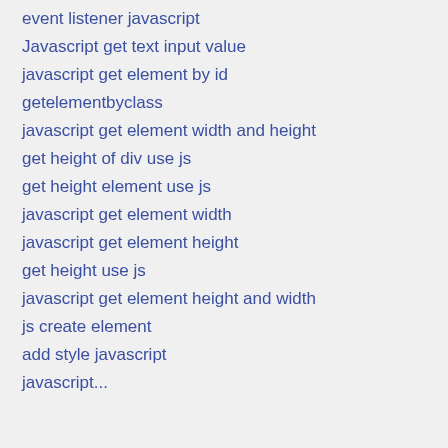event listener javascript
Javascript get text input value
javascript get element by id
getelementbyclass
javascript get element width and height
get height of div use js
get height element use js
javascript get element width
javascript get element height
get height use js
javascript get element height and width
js create element
add style javascript
javascript...